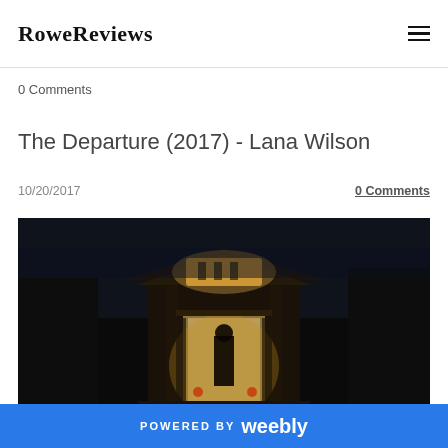RoweReviews
0 Comments
The Departure (2017) - Lana Wilson
10/20/2017
0 Comments
[Figure (photo): Night-time scene of a traditional Japanese building entrance with warm interior lighting; a silhouetted figure stands in the illuminated doorway.]
POWERED BY weebly